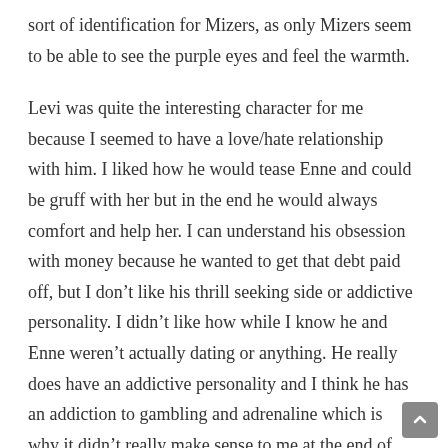sort of identification for Mizers, as only Mizers seem to be able to see the purple eyes and feel the warmth.
Levi was quite the interesting character for me because I seemed to have a love/hate relationship with him. I liked how he would tease Enne and could be gruff with her but in the end he would always comfort and help her. I can understand his obsession with money because he wanted to get that debt paid off, but I don't like his thrill seeking side or addictive personality. I didn't like how while I know he and Enne weren't actually dating or anything. He really does have an addictive personality and I think he has an addiction to gambling and adrenaline which is why it didn't really make sense to me at the end of the book where he decides while he likes Enne, she's too much of a risk. I know Levi is just thinking with his common sense for once but I'm quite upset that he considers Enne a threat and he's drawing his line in the sand. His family is just as much attached to the monarchy